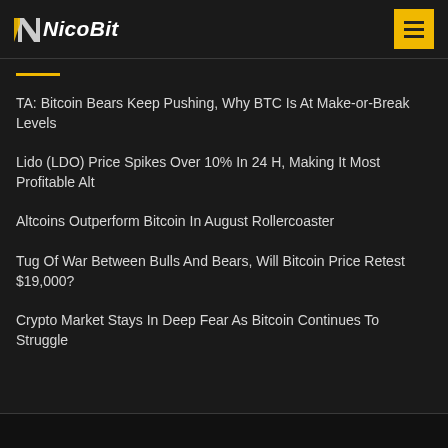NicoBit
TA: Bitcoin Bears Keep Pushing, Why BTC Is At Make-or-Break Levels
Lido (LDO) Price Spikes Over 10% In 24 H, Making It Most Profitable Alt
Altcoins Outperform Bitcoin In August Rollercoaster
Tug Of War Between Bulls And Bears, Will Bitcoin Price Retest $19,000?
Crypto Market Stays In Deep Fear As Bitcoin Continues To Struggle